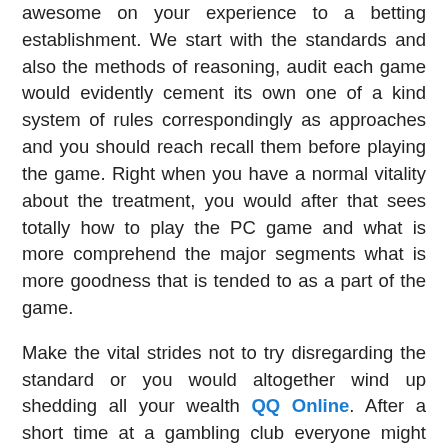awesome on your experience to a betting establishment. We start with the standards and also the methods of reasoning, audit each game would evidently cement its own one of a kind system of rules correspondingly as approaches and you should reach recall them before playing the game. Right when you have a normal vitality about the treatment, you would after that sees totally how to play the PC game and what is more comprehend the major segments what is more goodness that is tended to as a part of the game.
Make the vital strides not to try disregarding the standard or you would altogether wind up shedding all your wealth QQ Online. After a short time at a gambling club everyone might want to mishandle it and furthermore win some money if